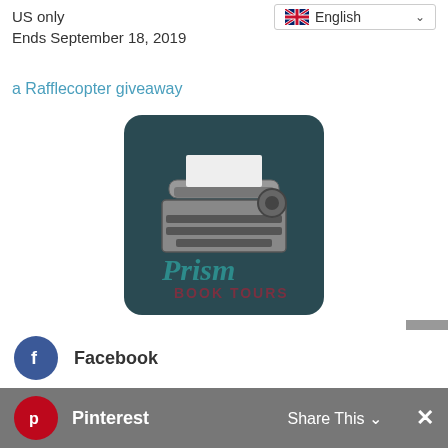US only
Ends September 18, 2019
English
a Rafflecopter giveaway
[Figure (logo): Prism Book Tours logo featuring a vintage typewriter illustration on a dark teal background with 'Prism' in cursive teal text and 'BOOK TOURS' in dark maroon capital letters below]
Facebook
Twitter
Pinterest
Share This